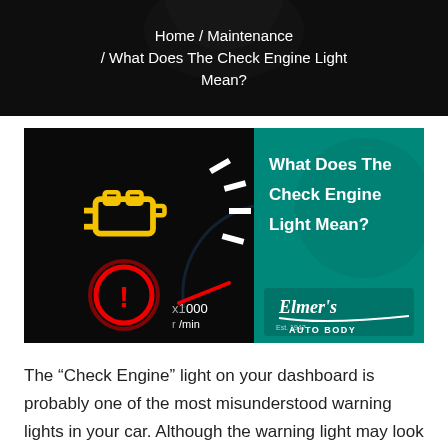Home / Maintenance / What Does The Check Engine Light Mean?
[Figure (infographic): Split image: left side shows a black dashboard with yellow check engine light icon and red warning icon with speedometer; right side is teal/green with bold white text 'What Does The Check Engine Light Mean?' and Elmer's Auto Body logo at bottom right.]
The “Check Engine” light on your dashboard is probably one of the most misunderstood warning lights in your car. Although the warning light may look